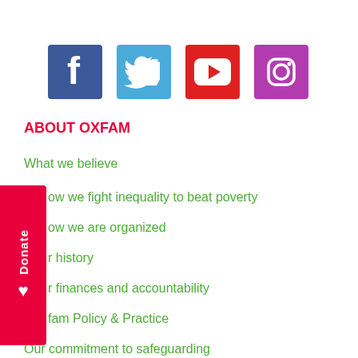[Figure (logo): Facebook logo icon - white F on blue square]
[Figure (logo): Twitter logo icon - white bird on blue square]
[Figure (logo): YouTube logo icon - white play button on red square]
[Figure (logo): Instagram logo icon - white camera outline on purple/pink square]
ABOUT OXFAM
What we believe
How we fight inequality to beat poverty
How we are organized
Our history
Our finances and accountability
Oxfam Policy & Practice
Our commitment to safeguarding
Frequently Asked Questions
Scam warning